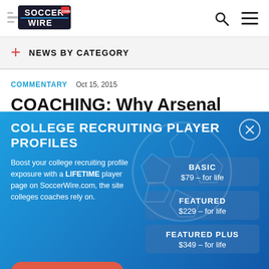SoccerWire.com
NEWS BY CATEGORY
COMMENTARY   Oct 15, 2015
COACHING: Why Arsenal crashed
COLLEGE RECRUITING PLAYER PROFILES
Boost your college recruiting profile exposure with a LIFETIME player page on SoccerWire.com, the site colleges coaches rely on.
| Plan | Price |
| --- | --- |
| BASIC | $79 – for life |
| FEATURED | $229 – for life |
| FEATURED PLUS | $349 – for life |
ADD A PLAYER NOW